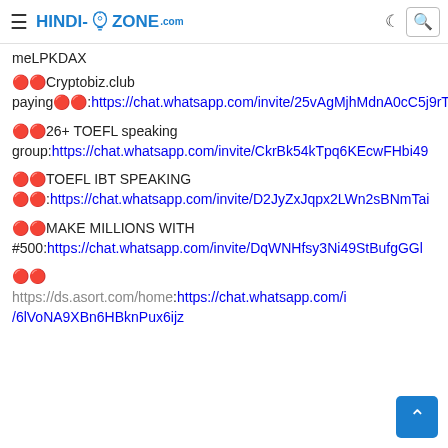HINDI-TIPS-ZONE.com
meLPKDAX
🔴🔴Cryptobiz.club paying🔴🔴:https://chat.whatsapp.com/invite/25vAgMjhMdnA0cC5j9rTpr
🔴🔴26+ TOEFL speaking group:https://chat.whatsapp.com/invite/CkrBk54kTpq6KEcwFHbi49
🔴🔴TOEFL IBT SPEAKING 🔴🔴:https://chat.whatsapp.com/invite/D2JyZxJqpx2LWn2sBNmTai
🔴🔴MAKE MILLIONS WITH #500:https://chat.whatsapp.com/invite/DqWNHfsy3Ni49StBufgGGl
🔴🔴 https://ds.asort.com/home:https://chat.whatsapp.com/i.../6lVoNA9XBn6HBknPux6ijz